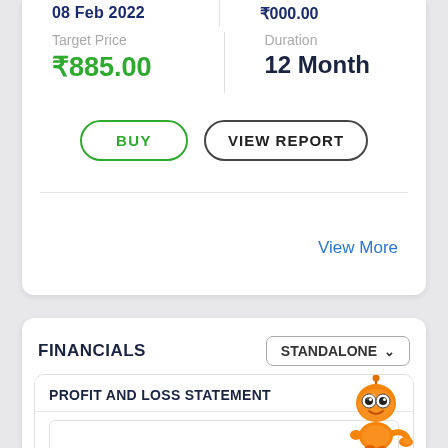08 Feb 2022
₹000.00
Target Price
₹885.00
Duration
12 Month
BUY
VIEW REPORT
View More
FINANCIALS
STANDALONE
PROFIT AND LOSS STATEMENT
5k
[Figure (illustration): Orange robot mascot character]